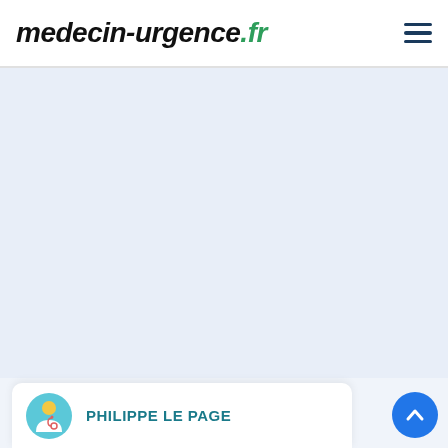medecin-urgence.fr
[Figure (screenshot): Light blue-grey empty content area below the header navigation]
PHILIPPE LE PAGE